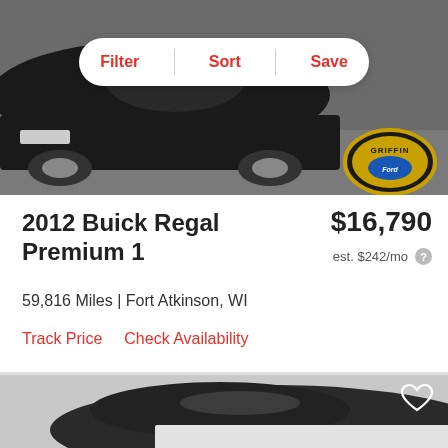[Figure (photo): Black Buick Regal car photographed at a dealership lot, with Griffin Ford dealership logo badge visible in the lower right. A Filter/Sort/Save toolbar overlays the top portion of the photo.]
2012 Buick Regal Premium 1
$16,790
est. $242/mo
59,816 Miles | Fort Atkinson, WI
Track Price   Check Availability
[Figure (photo): Dark-colored sedan (partially visible) photographed against a light gray background in a studio-style setting. Bottom portion is blurred/cropped.]